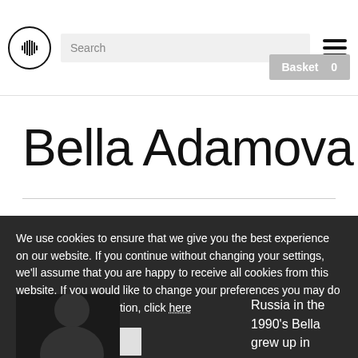Search | Basket 0
Bella Adamova
We use cookies to ensure that we give you the best experience on our website. If you continue without changing your settings, we'll assume that you are happy to receive all cookies from this website. If you would like to change your preferences you may do so. For more information, click here
Close message
Russia in the 1990's Bella grew up in